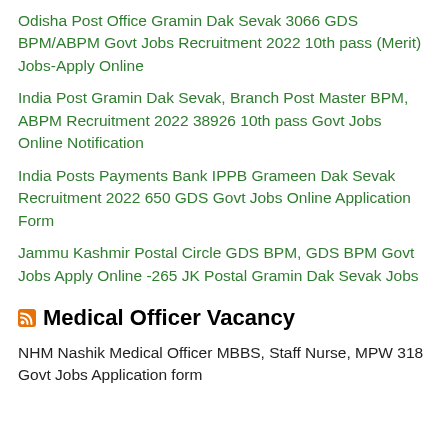Odisha Post Office Gramin Dak Sevak 3066 GDS BPM/ABPM Govt Jobs Recruitment 2022 10th pass (Merit) Jobs-Apply Online
India Post Gramin Dak Sevak, Branch Post Master BPM, ABPM Recruitment 2022 38926 10th pass Govt Jobs Online Notification
India Posts Payments Bank IPPB Grameen Dak Sevak Recruitment 2022 650 GDS Govt Jobs Online Application Form
Jammu Kashmir Postal Circle GDS BPM, GDS BPM Govt Jobs Apply Online -265 JK Postal Gramin Dak Sevak Jobs
Medical Officer Vacancy
NHM Nashik Medical Officer MBBS, Staff Nurse, MPW 318 Govt Jobs Application form